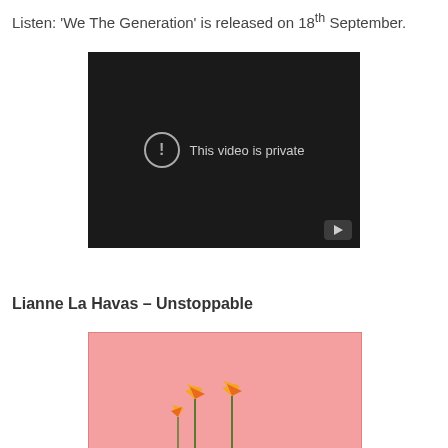Listen: 'We The Generation' is released on 18th September.
[Figure (screenshot): Embedded video player showing 'This video is private' message on dark background with YouTube play button icon in corner]
Lianne La Havas – Unstoppable
[Figure (photo): Pink background image with orange bird of paradise flowers at the bottom]